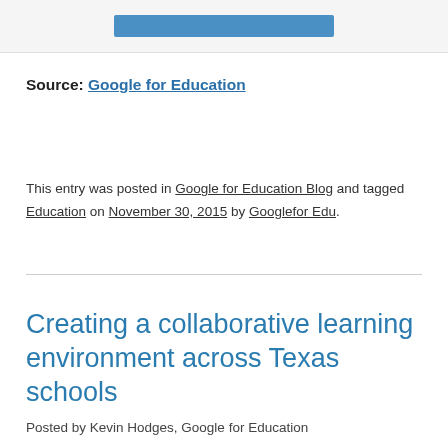[Figure (screenshot): Blue button widget at top of page]
Source: Google for Education
This entry was posted in Google for Education Blog and tagged Education on November 30, 2015 by Googlefor Edu.
Creating a collaborative learning environment across Texas schools
Posted by Kevin Hodges, Google for Education